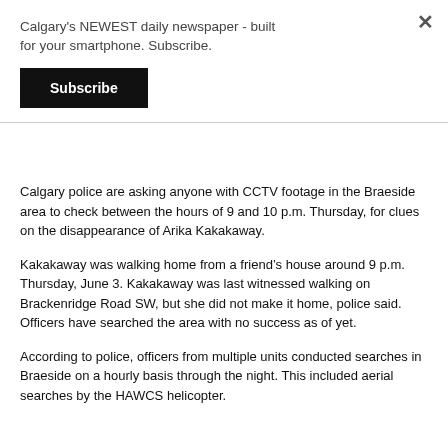Calgary's NEWEST daily newspaper - built for your smartphone. Subscribe.
Subscribe
Calgary police are asking anyone with CCTV footage in the Braeside area to check between the hours of 9 and 10 p.m. Thursday, for clues on the disappearance of Arika Kakakaway.
Kakakaway was walking home from a friend’s house around 9 p.m. Thursday, June 3. Kakakaway was last witnessed walking on Brackenridge Road SW, but she did not make it home, police said. Officers have searched the area with no success as of yet.
According to police, officers from multiple units conducted searches in Braeside on a hourly basis through the night. This included aerial searches by the HAWCS helicopter.